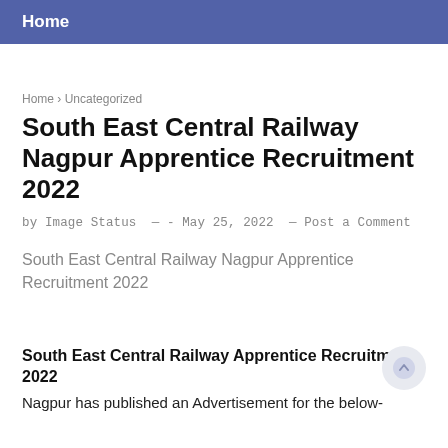Home
Home › Uncategorized
South East Central Railway Nagpur Apprentice Recruitment 2022
by Image Status — - May 25, 2022 — Post a Comment
South East Central Railway Nagpur Apprentice Recruitment 2022
South East Central Railway Apprentice Recruitment 2022
Nagpur has published an Advertisement for the below-